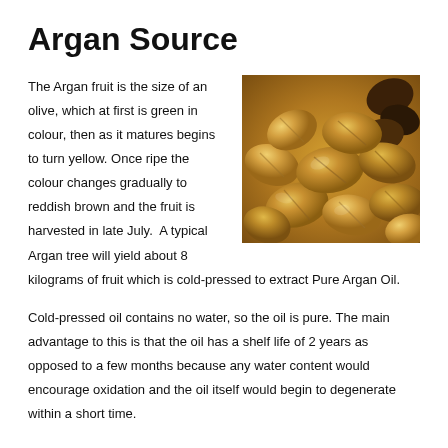Argan Source
[Figure (photo): Close-up photograph of many golden-brown argan nuts/seeds piled together]
The Argan fruit is the size of an olive, which at first is green in colour, then as it matures begins to turn yellow. Once ripe the colour changes gradually to reddish brown and the fruit is harvested in late July. A typical Argan tree will yield about 8 kilograms of fruit which is cold-pressed to extract Pure Argan Oil.
Cold-pressed oil contains no water, so the oil is pure. The main advantage to this is that the oil has a shelf life of 2 years as opposed to a few months because any water content would encourage oxidation and the oil itself would begin to degenerate within a short time.